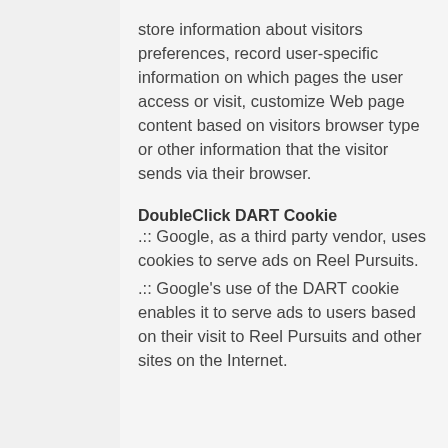store information about visitors preferences, record user-specific information on which pages the user access or visit, customize Web page content based on visitors browser type or other information that the visitor sends via their browser.
DoubleClick DART Cookie
.:. Google, as a third party vendor, uses cookies to serve ads on Reel Pursuits.
.:. Google's use of the DART cookie enables it to serve ads to users based on their visit to Reel Pursuits and other sites on the Internet.